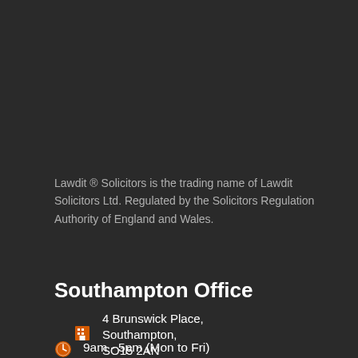Lawdit ® Solicitors is the trading name of Lawdit Solicitors Ltd. Regulated by the Solicitors Regulation Authority of England and Wales.
Southampton Office
4 Brunswick Place, Southampton, SO15 2AN
9am - 5pm (Mon to Fri)